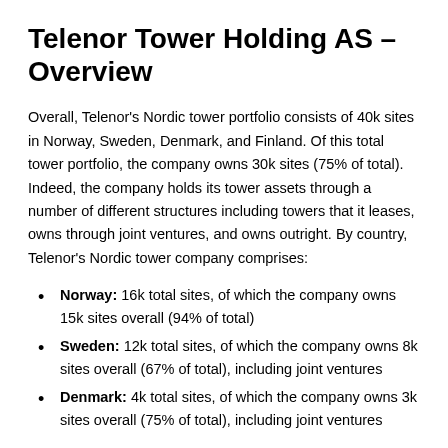Telenor Tower Holding AS – Overview
Overall, Telenor's Nordic tower portfolio consists of 40k sites in Norway, Sweden, Denmark, and Finland. Of this total tower portfolio, the company owns 30k sites (75% of total). Indeed, the company holds its tower assets through a number of different structures including towers that it leases, owns through joint ventures, and owns outright. By country, Telenor's Nordic tower company comprises:
Norway: 16k total sites, of which the company owns 15k sites overall (94% of total)
Sweden: 12k total sites, of which the company owns 8k sites overall (67% of total), including joint ventures
Denmark: 4k total sites, of which the company owns 3k sites overall (75% of total), including joint ventures